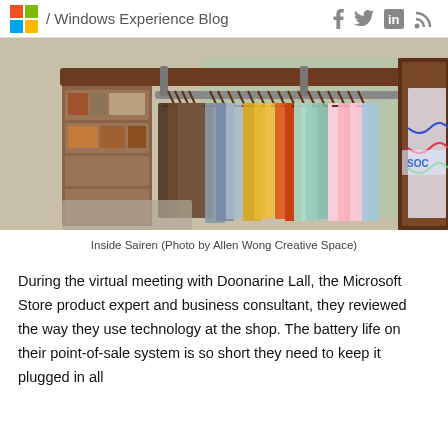/ Windows Experience Blog
[Figure (photo): Interior of Sairen clothing store showing colorful shirts hanging on a metal rack, with wooden shelving and store interior visible in the background.]
Inside Sairen (Photo by Allen Wong Creative Space)
During the virtual meeting with Doonarine Lall, the Microsoft Store product expert and business consultant, they reviewed the way they use technology at the shop. The battery life on their point-of-sale system is so short they need to keep it plugged in all